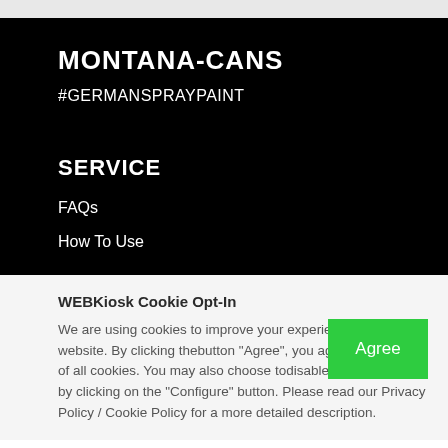MONTANA-CANS
#GERMANSPRAYPAINT
SERVICE
FAQs
How To Use
WEBKiosk Cookie Opt-In
We are using cookies to improve your experience on our website. By clicking thebutton "Agree", you agree to the use of all cookies. You may also choose todisable specific cookies by clicking on the "Configure" button. Please read our Privacy Policy / Cookie Policy for a more detailed description.